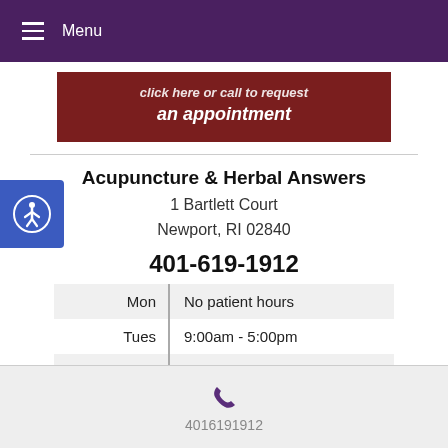Menu
[Figure (screenshot): Dark red button with italic text: click here or call to request an appointment]
[Figure (logo): Accessibility icon - blue circle with person figure]
Acupuncture & Herbal Answers
1 Bartlett Court
Newport, RI 02840
401-619-1912
| Day | Hours |
| --- | --- |
| Mon | No patient hours |
| Tues | 9:00am - 5:00pm |
| Wed | 9:00am - 4:00pm |
| Thur | 12:00am - 7:00pm |
4016191912